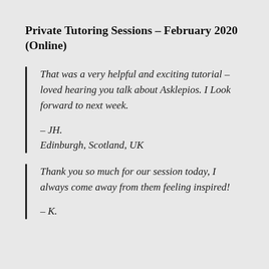Private Tutoring Sessions – February 2020 (Online)
That was a very helpful and exciting tutorial – loved hearing you talk about Asklepios. I Look forward to next week.
– JH.
Edinburgh, Scotland, UK
Thank you so much for our session today, I always come away from them feeling inspired!
– K.